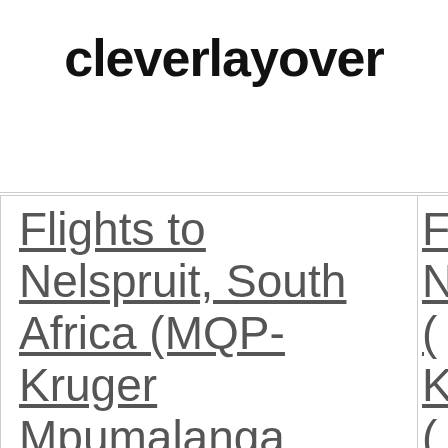cleverlayover
Flights to Nelspruit, South Africa (MQP-Kruger Mpumalanga International...